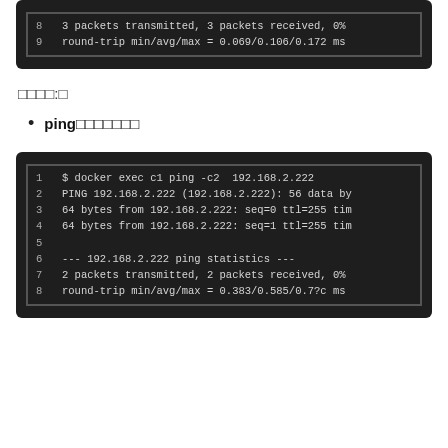[Figure (screenshot): Terminal screenshot showing ping output: lines 8-9: '3 packets transmitted, 3 packets received, 0%' and 'round-trip min/avg/max = 0.069/0.106/0.172 ms']
□□□□:□
ping□□□□□□□
[Figure (screenshot): Terminal screenshot showing docker exec ping command output: $ docker exec c1 ping -c2 192.168.2.222, PING 192.168.2.222 (192.168.2.222): 56 data by, 64 bytes from 192.168.2.222: seq=0 ttl=255 tim, 64 bytes from 192.168.2.222: seq=1 ttl=255 tim, --- 192.168.2.222 ping statistics ---, 2 packets transmitted, 2 packets received, 0%, round-trip min/avg/max = 0.383/0.585/0.7?c ms]